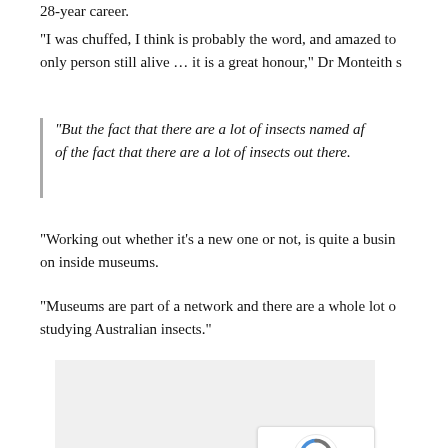28-year career.
“I was chuffed, I think is probably the word, and amazed to only person still alive … it is a great honour,” Dr Monteith s
“But the fact that there are a lot of insects named af of the fact that there are a lot of insects out there.
“Working out whether it’s a new one or not, is quite a busin on inside museums.
“Museums are part of a network and there are a whole lot o studying Australian insects.”
[Figure (other): Gray placeholder image area with reCAPTCHA badge in the bottom-right corner]